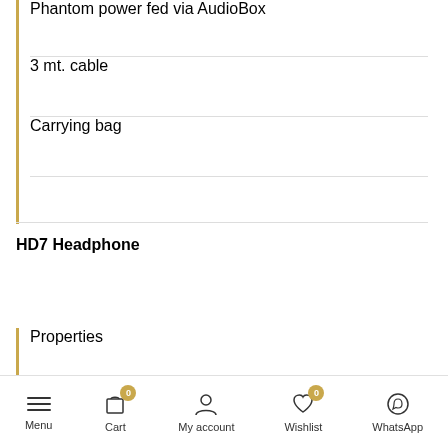Phantom power fed via AudioBox
3 mt. cable
Carrying bag
HD7 Headphone
Properties
Menu  Cart  My account  Wishlist  WhatsApp